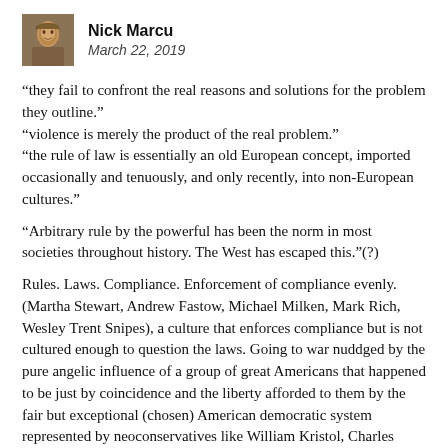Nick Marcu
March 22, 2019
“they fail to confront the real reasons and solutions for the problem they outline.”
“violence is merely the product of the real problem.”
“the rule of law is essentially an old European concept, imported occasionally and tenuously, and only recently, into non-European cultures.”
“Arbitrary rule by the powerful has been the norm in most societies throughout history. The West has escaped this.”(?)
Rules. Laws. Compliance. Enforcement of compliance evenly. (Martha Stewart, Andrew Fastow, Michael Milken, Mark Rich, Wesley Trent Snipes), a culture that enforces compliance but is not cultured enough to question the laws. Going to war nuddged by the pure angelic influence of a group of great Americans that happened to be just by coincidence and the liberty afforded to them by the fair but exceptional (chosen) American democratic system represented by neoconservatives like William Kristol, Charles Krauthammer,Richard Perle, Paul Wolfowitz, Douglas Feith,